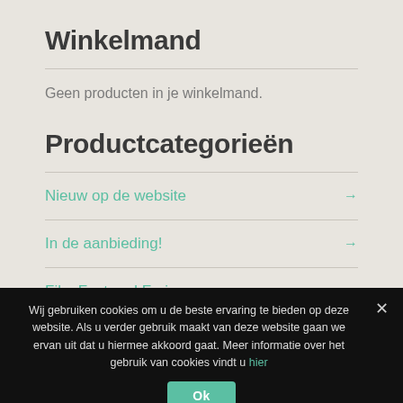Winkelmand
Geen producten in je winkelmand.
Productcategorieën
Nieuw op de website →
In de aanbieding! →
Film Fast and Furious →
Wij gebruiken cookies om u de beste ervaring te bieden op deze website. Als u verder gebruik maakt van deze website gaan we ervan uit dat u hiermee akkoord gaat. Meer informatie over het gebruik van cookies vindt u hier